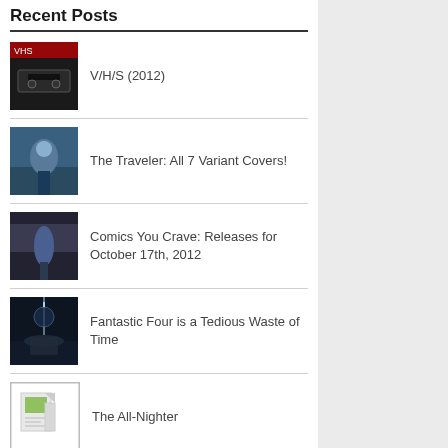Recent Posts
V/H/S (2012)
The Traveler: All 7 Variant Covers!
Comics You Crave: Releases for October 17th, 2012
Fantastic Four is a Tedious Waste of Time
The All-Nighter